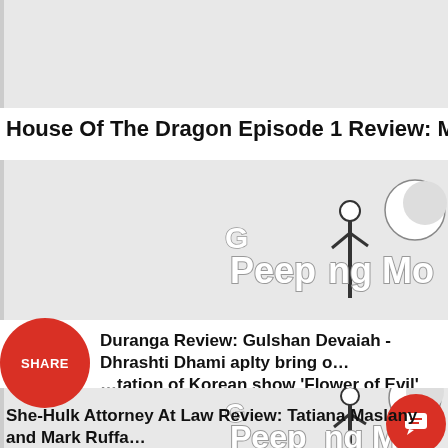[Figure (screenshot): Gray placeholder image block at top]
House Of The Dragon Episode 1 Review: Milly Alco…
[Figure (logo): Peeping Moon logo on gray background]
Duranga Review: Gulshan Devaiah - Dhrashti Dhami aplty bring out the Indian adaptation of Korean show 'Flower of Evil'
[Figure (logo): Peeping Moon logo on gray background (second instance)]
She-Hulk Attorney At Law Review: Tatiana Maslany and Mark Ruffa… humour, depicting sexism and misogyny with sarcasm